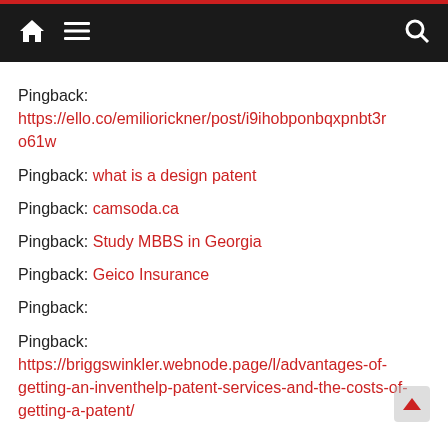Navigation bar with home, menu, and search icons
Pingback: https://ello.co/emiliorickner/post/i9ihobponbqxpnbt3ro61w
Pingback: what is a design patent
Pingback: camsoda.ca
Pingback: Study MBBS in Georgia
Pingback: Geico Insurance
Pingback:
Pingback: https://briggswinkler.webnode.page/l/advantages-of-getting-an-inventhelp-patent-services-and-the-costs-of-getting-a-patent/